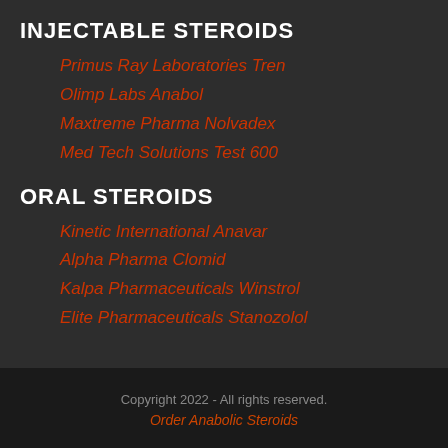INJECTABLE STEROIDS
Primus Ray Laboratories Tren
Olimp Labs Anabol
Maxtreme Pharma Nolvadex
Med Tech Solutions Test 600
ORAL STEROIDS
Kinetic International Anavar
Alpha Pharma Clomid
Kalpa Pharmaceuticals Winstrol
Elite Pharmaceuticals Stanozolol
Copyright 2022 - All rights reserved.
Order Anabolic Steroids